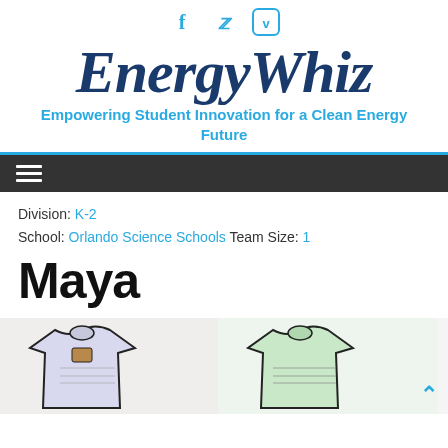EnergyWhiz — Empowering Student Innovation for a Clean Energy Future
Division: K-2
School: Orlando Science Schools  Team Size: 1
Maya
[Figure (photo): Two hand-drawn t-shirt illustrations side by side on white background, with student artwork showing energy-related designs.]